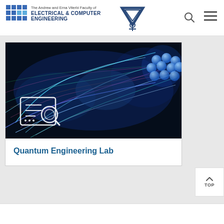The Andrew and Erna Viterbi Faculty of ELECTRICAL & COMPUTER ENGINEERING
[Figure (illustration): Abstract digital art showing blue glowing neural network / quantum field visualization with colorful light threads on dark background, with a spherical cluster of blue spheres in the top right corner, and a white book/search icon overlay in the bottom left. Branded as Quantum Engineering Lab.]
Quantum Engineering Lab